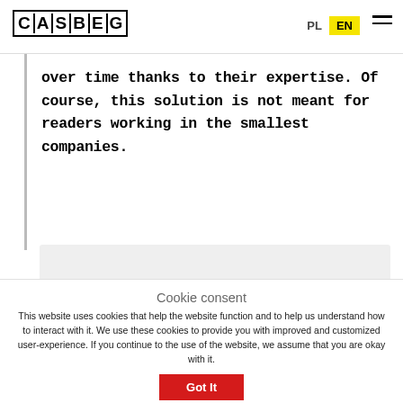CASBEG | PL | EN
over time thanks to their expertise. Of course, this solution is not meant for readers working in the smallest companies.
Cookie consent
This website uses cookies that help the website function and to help us understand how to interact with it. We use these cookies to provide you with improved and customized user-experience. If you continue to the use of the website, we assume that you are okay with it.
Got It